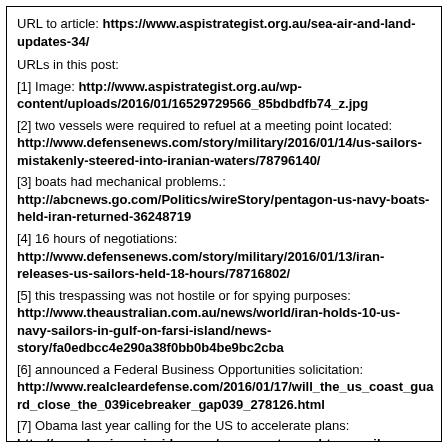URL to article: https://www.aspistrategist.org.au/sea-air-and-land-updates-34/
URLs in this post:
[1] Image: http://www.aspistrategist.org.au/wp-content/uploads/2016/01/16529729566_85bdbdfb74_z.jpg
[2] two vessels were required to refuel at a meeting point located: http://www.defensenews.com/story/military/2016/01/14/us-sailors-mistakenly-steered-into-iranian-waters/78796140/
[3] boats had mechanical problems.: http://abcnews.go.com/Politics/wireStory/pentagon-us-navy-boats-held-iran-returned-36248719
[4] 16 hours of negotiations: http://www.defensenews.com/story/military/2016/01/13/iran-releases-us-sailors-held-18-hours/78716802/
[5] this trespassing was not hostile or for spying purposes: http://www.theaustralian.com.au/news/world/iran-holds-10-us-navy-sailors-in-gulf-on-farsi-island/news-story/fa0edbcc4e290a38f0bb0b4be9bc2cba
[6] announced a Federal Business Opportunities solicitation: http://www.realcleardefense.com/2016/01/17/will_the_us_coast_guard_close_the_039icebreaker_gap039_278126.html
[7] Obama last year calling for the US to accelerate plans: http://www.businessinsider.com/r-us-coast-guard-to-unveil-requirements-for-new-icebreakers-2016-1?IR=T
[8] Each ship is likely to cost around US$1 billion.: http://www.wsj.com/articles/coast-guard-sets-plans-to-acquire-two-new-icebreakers-1452731721
[9] US has a long way to catch up with its number one Arctic competitor, Russia: